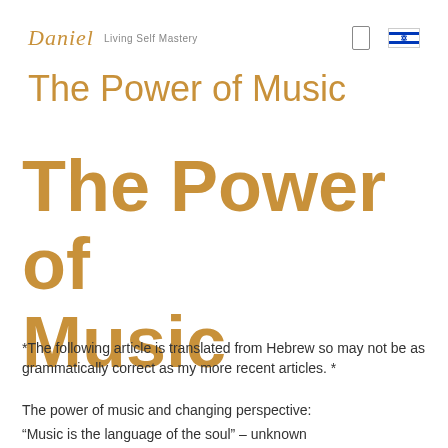Daniel Living Self Mastery
The Power of Music
The Power of Music
*The following article is translated from Hebrew so may not be as grammatically correct as my more recent articles. *
The power of music and changing perspective:
“Music is the language of the soul” – unknown